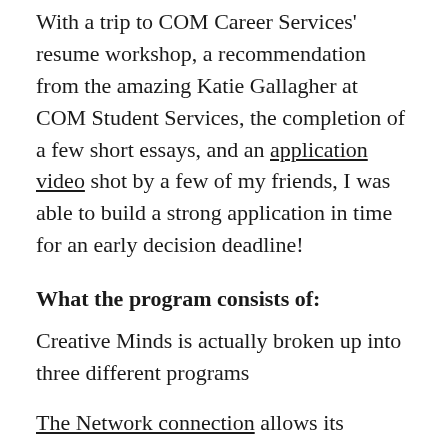With a trip to COM Career Services' resume workshop, a recommendation from the amazing Katie Gallagher at COM Student Services, the completion of a few short essays, and an application video shot by a few of my friends, I was able to build a strong application in time for an early decision deadline!
What the program consists of:
Creative Minds is actually broken up into three different programs
The Network connection allows its participants to attend pitch meetings, strategic workshops, and different networking events to create relationships with industry professionals.
The Filmmaker Institute has its participants actually